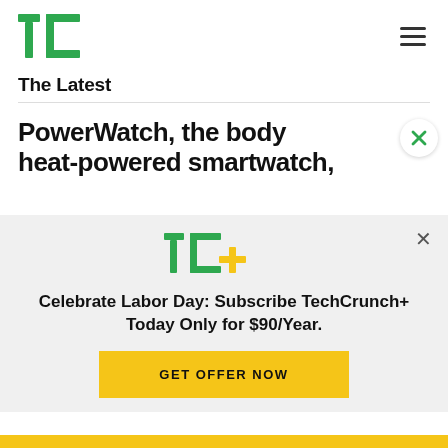TechCrunch
The Latest
PowerWatch, the body heat-powered smartwatch,
Celebrate Labor Day: Subscribe TechCrunch+ Today Only for $90/Year.
GET OFFER NOW